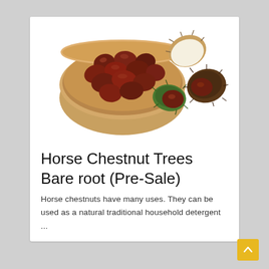[Figure (photo): A wooden bowl filled with shiny brown horse chestnuts, with several chestnuts outside the bowl including some still in their spiky green husks, on a white background.]
Horse Chestnut Trees Bare root (Pre-Sale)
Horse chestnuts have many uses. They can be used as a natural traditional household detergent ...